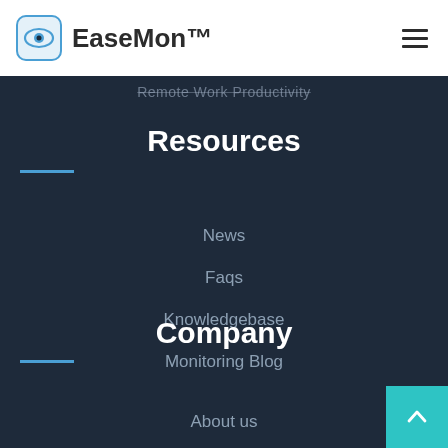EaseMon™
Remote Work Productivity
Resources
News
Faqs
Knowledgebase
Monitoring Blog
Company
About us